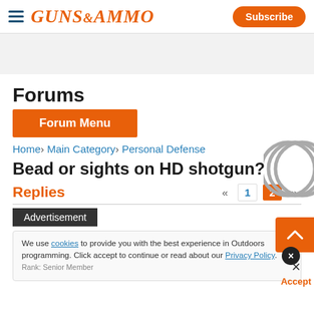GUNS&AMMO | Subscribe
[Figure (other): Gray advertisement banner area]
Forums
Forum Menu
Home › Main Category › Personal Defense
Bead or sights on HD shotgun?
Replies « 1 2 »
Advertisement
We use cookies to provide you with the best experience in Outdoors programming. Click accept to continue or read about our Privacy Policy.
Rank: Senior Member